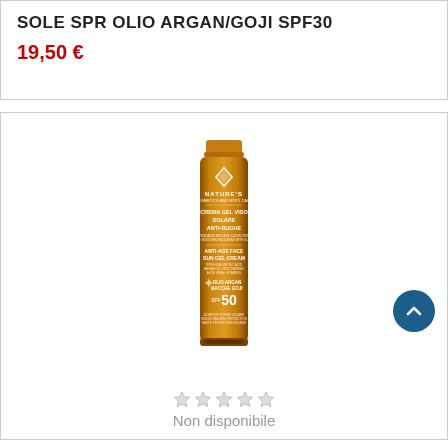SOLE SPR OLIO ARGAN/GOJI SPF30
19,50 €
[Figure (photo): Nature's CREMA GEL VISO SOLARE ANTI-RUGHE (Anti-age face sun gel cream) SPF 50 product tube in metallic bronze/gold color with white text logo and branding, standing upright]
Non disponibile